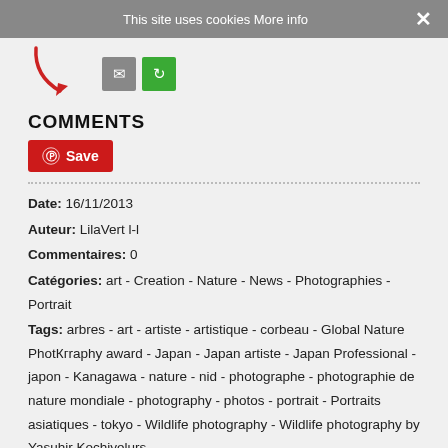This site uses cookies More info ×
[Figure (illustration): Red curved arrow pointing down-right, followed by two icon buttons: a grey email icon button and a green share/refresh icon button]
COMMENTS
[Figure (other): Red Pinterest Save button with Pinterest logo icon]
Date: 16/11/2013
Auteur: LilaVert l-l
Commentaires: 0
Catégories: art - Creation - Nature - News - Photographies - Portrait
Tags: arbres - art - artiste - artistique - corbeau - Global Nature Photography award - Japan - Japan artiste - Japan Professional - japon - Kanagawa - nature - nid - photographe - photographie de nature mondiale - photography - photos - portrait - Portraits asiatiques - tokyo - Wildlife photography - Wildlife photography by Yasuhir Kochiyelurs